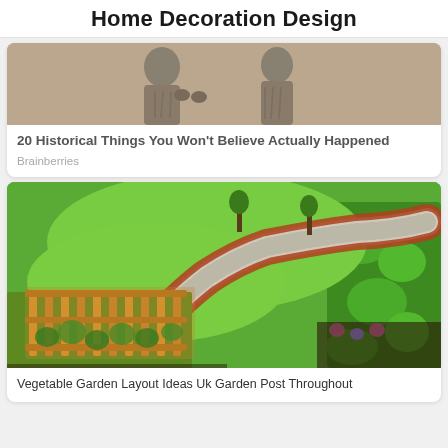Home Decoration Design
[Figure (photo): Black and white historical photograph showing two people in old-fashioned clothing]
20 Historical Things You Won't Believe Actually Happened
Brainberries
[Figure (photo): Aerial view of a garden with a winding brick-edged gravel path through green lawn, raised wooden vegetable beds on the left, and shrub borders on the right]
Vegetable Garden Layout Ideas Uk Garden Post Throughout